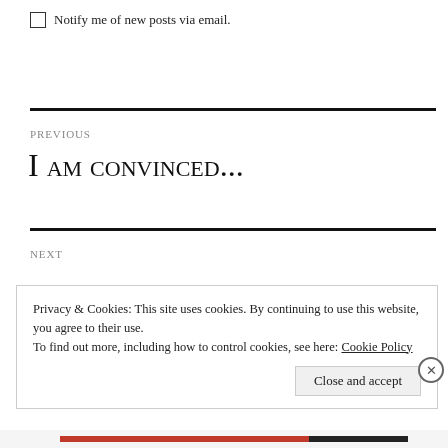Notify me of new posts via email.
PREVIOUS
I am convinced...
NEXT
Privacy & Cookies: This site uses cookies. By continuing to use this website, you agree to their use.
To find out more, including how to control cookies, see here: Cookie Policy
Close and accept